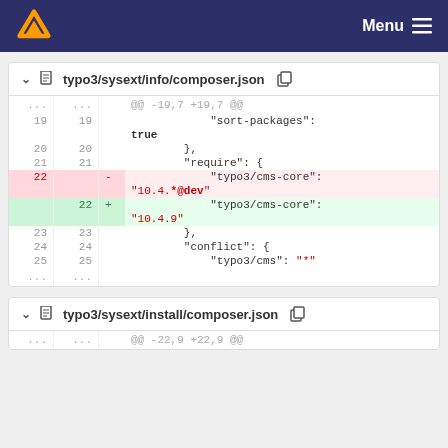Menu
typo3/sysext/info/composer.json
@@ -19,7 +19,7 @@
19 19   "sort-packages": true
20 20   },
21 21   "require": {
22    -   "typo3/cms-core": "10.4.*@dev"
   22 +   "typo3/cms-core": "10.4.9"
23 23   },
24 24   "conflict": {
25 25   "typo3/cms": "*"
typo3/sysext/install/composer.json
@@ -22,9 +22,9 @@